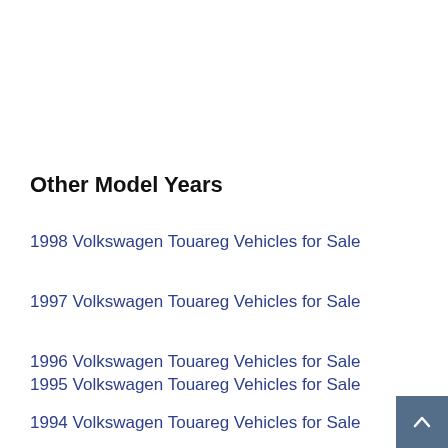Other Model Years
1998 Volkswagen Touareg Vehicles for Sale
1997 Volkswagen Touareg Vehicles for Sale
1996 Volkswagen Touareg Vehicles for Sale
1995 Volkswagen Touareg Vehicles for Sale
1994 Volkswagen Touareg Vehicles for Sale